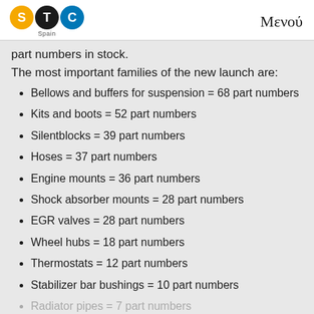STC Spain | Μενού
part numbers in stock.
The most important families of the new launch are:
Bellows and buffers for suspension = 68 part numbers
Kits and boots = 52 part numbers
Silentblocks = 39 part numbers
Hoses = 37 part numbers
Engine mounts = 36 part numbers
Shock absorber mounts = 28 part numbers
EGR valves = 28 part numbers
Wheel hubs = 18 part numbers
Thermostats = 12 part numbers
Stabilizer bar bushings = 10 part numbers
Radiator pipes = 7 part numbers